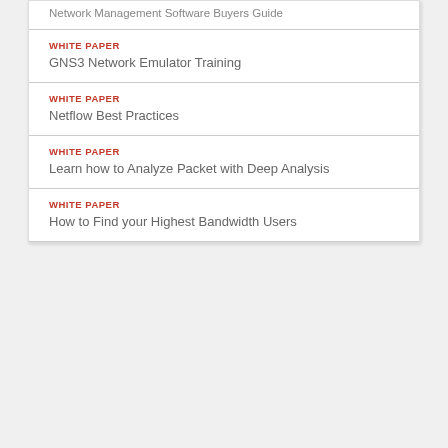Network Management Software Buyers Guide
WHITE PAPER
GNS3 Network Emulator Training
WHITE PAPER
Netflow Best Practices
WHITE PAPER
Learn how to Analyze Packet with Deep Analysis
WHITE PAPER
How to Find your Highest Bandwidth Users